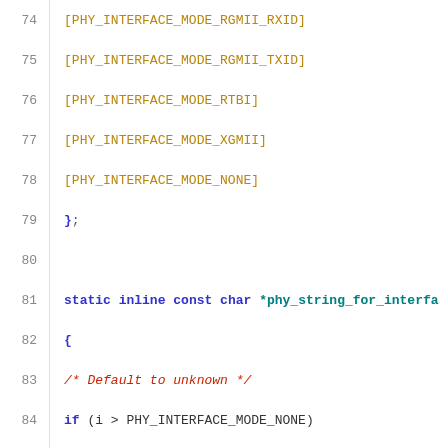Source code listing, lines 74-95, C header file showing PHY interface mode definitions and functions
74    [PHY_INTERFACE_MODE_RGMII_RXID]
75    [PHY_INTERFACE_MODE_RGMII_TXID]
76    [PHY_INTERFACE_MODE_RTBI]
77    [PHY_INTERFACE_MODE_XGMII]
78    [PHY_INTERFACE_MODE_NONE]
79 };
80
81 static inline const char *phy_string_for_interfa
82 {
83    /* Default to unknown */
84    if (i > PHY_INTERFACE_MODE_NONE)
85         i = PHY_INTERFACE_MODE_NONE;
86
87    return phy_interface_strings[i];
88 }
89
90
91 struct phy_device;
92
93 #define MDIO_NAME_LEN 32
94
95 struct mii_dev {